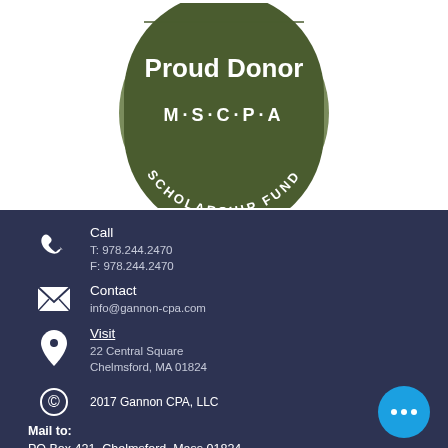[Figure (logo): MSCPA Proud Donor Scholarship Fund circular badge in olive green with white text]
Call
T: 978.244.2470
F: 978.244.2470
Contact
info@gannon-cpa.com
Visit
22 Central Square
Chelmsford, MA  01824
2017 Gannon CPA, LLC
Mail to:
PO Box 421, Chelmsford, Mass 01824